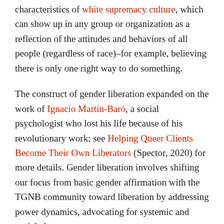characteristics of white supremacy culture, which can show up in any group or organization as a reflection of the attitudes and behaviors of all people (regardless of race)–for example, believing there is only one right way to do something.
The construct of gender liberation expanded on the work of Ignacio Martín-Baró, a social psychologist who lost his life because of his revolutionary work; see Helping Queer Clients Become Their Own Liberators (Spector, 2020) for more details. Gender liberation involves shifting our focus from basic gender affirmation with the TGNB community toward liberation by addressing power dynamics, advocating for systemic and social change...